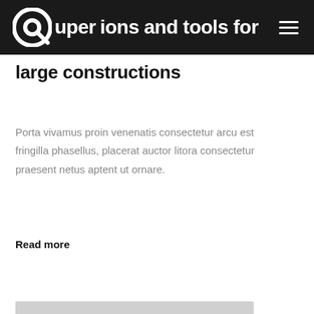Quper — ions and tools for large constructions
ions and tools for large constructions
Porta vivamus proin venenatis consectetur arcu est fringilla phasellus, placerat auctor litora consectetur praesent netus aptent ut ornare.
Read more